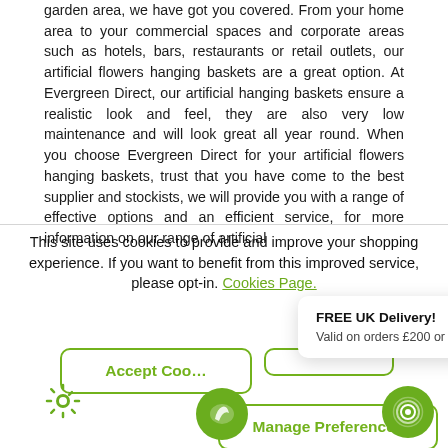garden area, we have got you covered. From your home area to your commercial spaces and corporate areas such as hotels, bars, restaurants or retail outlets, our artificial flowers hanging baskets are a great option. At Evergreen Direct, our artificial hanging baskets ensure a realistic look and feel, they are also very low maintenance and will look great all year round. When you choose Evergreen Direct for your artificial flowers hanging baskets, trust that you have come to the best supplier and stockists, we will provide you with a range of effective options and an efficient service, for more information on our range of artificial
This site uses cookies to provide and improve your shopping experience. If you want to benefit from this improved service, please opt-in. Cookies Page.
Accept Cookies
FREE UK Delivery!
Valid on orders £200 or more
Manage Preferences